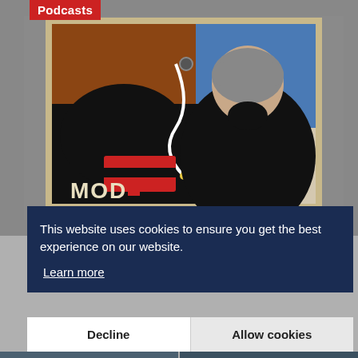[Figure (photo): Museum visitor viewed from behind, looking at a colorful art poster on a gallery wall. The poster shows abstract shapes in red, blue, black, and brown, with text reading 'MOD' visible at the bottom. A 'Podcasts' label in red appears in the upper left corner of the image.]
This website uses cookies to ensure you get the best experience on our website.
Learn more
Decline
Allow cookies
[Figure (photo): Partial view of two additional thumbnail images at the bottom of the page showing urban/building scenes.]